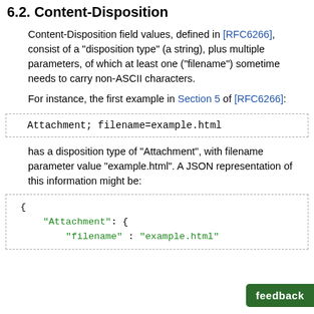6.2. Content-Disposition
Content-Disposition field values, defined in [RFC6266], consist of a "disposition type" (a string), plus multiple parameters, of which at least one ("filename") sometime needs to carry non-ASCII characters.
For instance, the first example in Section 5 of [RFC6266]:
Attachment; filename=example.html
has a disposition type of "Attachment", with filename parameter value "example.html". A JSON representation of this information might be:
{
    "Attachment": {
        "filename" : "example.html"